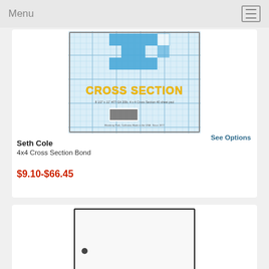Menu
[Figure (photo): Seth Cole 4x4 Cross Section Bond graph paper pad with blue grid pattern and yellow 'CROSS SECTION' text on cover]
See Options
Seth Cole
4x4 Cross Section Bond
$9.10-$66.45
[Figure (photo): White paper/pad product with black border and small hole punch, partially visible]